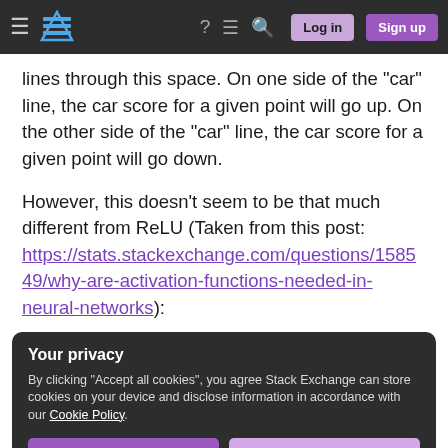Stack Exchange navigation bar with hamburger menu, logo, help, chat, search icons, Log in and Sign up buttons
lines through this space. On one side of the "car" line, the car score for a given point will go up. On the other side of the "car" line, the car score for a given point will go down.
However, this doesn't seem to be that much different from ReLU (Taken from this post: https://stats.stackexchange.com/questions/158549/why-are-activation-functions-needed-in-neural-networks):
Your privacy
By clicking "Accept all cookies", you agree Stack Exchange can store cookies on your device and disclose information in accordance with our Cookie Policy.
Accept all cookies   Customize settings